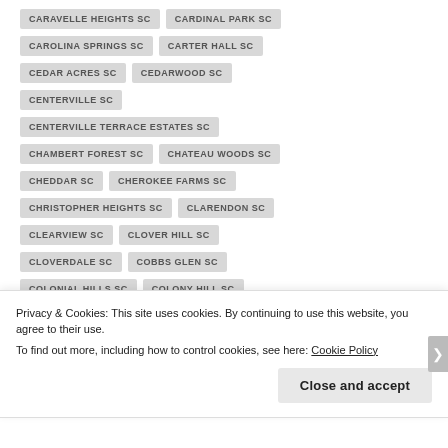CARAVELLE HEIGHTS SC
CARDINAL PARK SC
CAROLINA SPRINGS SC
CARTER HALL SC
CEDAR ACRES SC
CEDARWOOD SC
CENTERVILLE SC
CENTERVILLE TERRACE ESTATES SC
CHAMBERT FOREST SC
CHATEAU WOODS SC
CHEDDAR SC
CHEROKEE FARMS SC
CHRISTOPHER HEIGHTS SC
CLARENDON SC
CLEARVIEW SC
CLOVER HILL SC
CLOVERDALE SC
COBBS GLEN SC
COLONIAL HILLS SC
COLONY HILL SC
Privacy & Cookies: This site uses cookies. By continuing to use this website, you agree to their use.
To find out more, including how to control cookies, see here: Cookie Policy
Close and accept